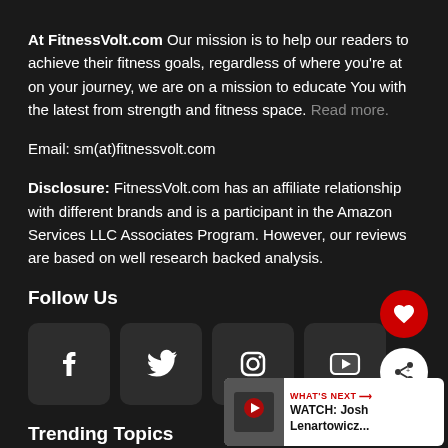At FitnessVolt.com Our mission is to help our readers to achieve their fitness goals, regardless of where you're at on your journey, we are on a mission to educate You with the latest from strength and fitness space. Read more.
Email: sm(at)fitnessvolt.com
Disclosure: FitnessVolt.com has an affiliate relationship with different brands and is a participant in the Amazon Services LLC Associates Program. However, our reviews are based on well research backed analysis.
Follow Us
[Figure (infographic): Social media icons: Facebook, Twitter, Instagram, YouTube — each in a dark rounded square]
Trending Topics
[Figure (infographic): WHAT'S NEXT widget showing: WATCH: Josh Lenartowicz... with a thumbnail image]